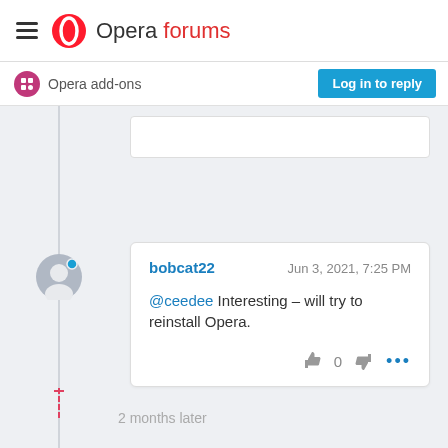Opera forums
Opera add-ons
Log in to reply
bobcat22   Jun 3, 2021, 7:25 PM
@ceedee Interesting – will try to reinstall Opera.
2 months later
29 out of 49